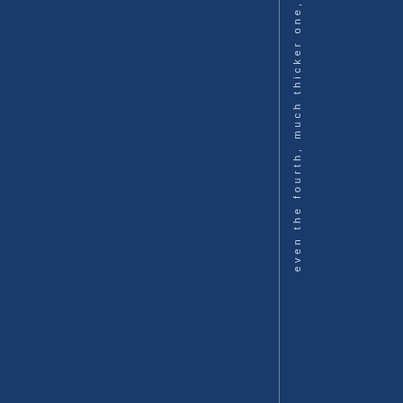[Figure (other): Dark navy blue background page with a vertical thin line dividing the page. Rotated vertical text reading 'even the fourth, much thicker one,' displayed character by character vertically in light blue/white color against the dark blue background.]